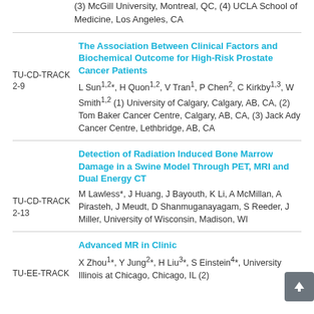(3) McGill University, Montreal, QC, (4) UCLA School of Medicine, Los Angeles, CA
The Association Between Clinical Factors and Biochemical Outcome for High-Risk Prostate Cancer Patients
TU-CD-TRACK 2-9  L Sun1,2*, H Quon1,2, V Tran1, P Chen2, C Kirkby1,3, W Smith1,2 (1) University of Calgary, Calgary, AB, CA, (2) Tom Baker Cancer Centre, Calgary, AB, CA, (3) Jack Ady Cancer Centre, Lethbridge, AB, CA
Detection of Radiation Induced Bone Marrow Damage in a Swine Model Through PET, MRI and Dual Energy CT
TU-CD-TRACK 2-13  M Lawless*, J Huang, J Bayouth, K Li, A McMillan, A Pirasteh, J Meudt, D Shanmuganayagam, S Reeder, J Miller, University of Wisconsin, Madison, WI
Advanced MR in Clinic
X Zhou1*, Y Jung2*, H Liu3*, S Einstein4*, University Illinois at Chicago, Chicago, IL (2)
TU-EE-TRACK